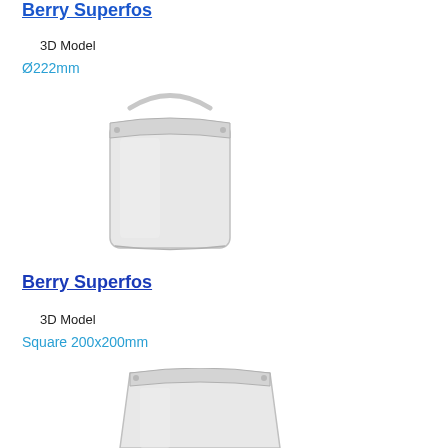Berry Superfos
3D Model
Ø222mm
[Figure (photo): 3D render of a white square plastic bucket with a handle, viewed from a slight angle above]
Berry Superfos
3D Model
Square 200x200mm
[Figure (photo): Partial 3D render of a white square plastic container, viewed from above, cropped at the bottom of the page]